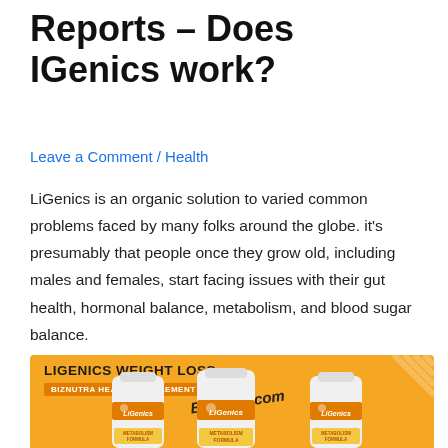Reports – Does IGenics work?
Leave a Comment / Health
LiGenics is an organic solution to varied common problems faced by many folks around the globe. it's presumably that people once they grow old, including males and females, start facing issues with their gut health, hormonal balance, metabolism, and blood sugar balance.
[Figure (photo): Product promotional image showing three white bottles of LiGenics Metabolism Formula supplement on an orange background, with the text 'LIGENICS WEIGHT LOSS' and 'BIZNUTRA HEALTH SUPPLEMENT' label, and a 'Biznutra.com' watermark in italic text.]